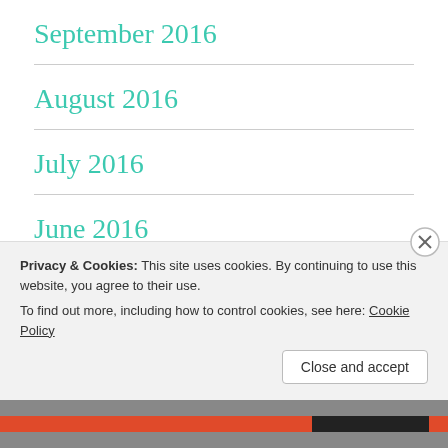September 2016
August 2016
July 2016
June 2016
February 2015
Privacy & Cookies: This site uses cookies. By continuing to use this website, you agree to their use.
To find out more, including how to control cookies, see here: Cookie Policy